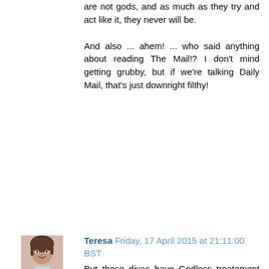are not gods, and as much as they try and act like it, they never will be.
And also ... ahem! ... who said anything about reading The Mail!? I don't mind getting grubby, but if we're talking Daily Mail, that's just downright filthy!
[Figure (photo): Avatar photo of commenter Teresa, showing a woman's face]
Teresa  Friday, 17 April 2015 at 21:11:00 BST
But these divas have Godless treatement and following by a few (gosh, so many), Eddie.
In fact there's a pattern. The more you have on them the higher they get on the freak... sorry, diva status.
Count your blessings they aren't REALLY Gods.
I wasn't comparing or ... comparing. I was just saying that people tend to force us to know, see, watch, learn etc about their privates and has been so since Godly times. They are to blame. The original culprits. Because let me tell you, Mister, turning into a white Bull and kidnapping a